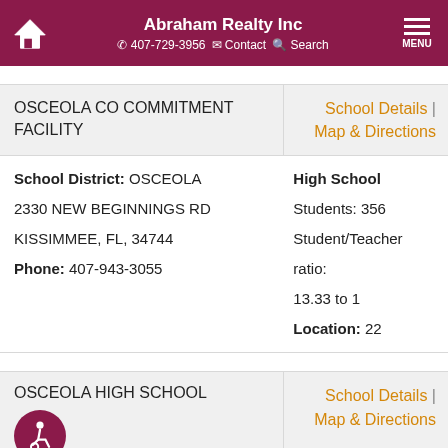Abraham Realty Inc | 407-729-3956 | Contact | Search | MENU
OSCEOLA CO COMMITMENT FACILITY | School Details | Map & Directions
School District: OSCEOLA
2330 NEW BEGINNINGS RD
KISSIMMEE, FL, 34744
Phone: 407-943-3055
High School
Students: 356
Student/Teacher ratio: 13.33 to 1
Location: 22
OSCEOLA HIGH SCHOOL | School Details | Map & Directions
School District: OSCEOLA
High School